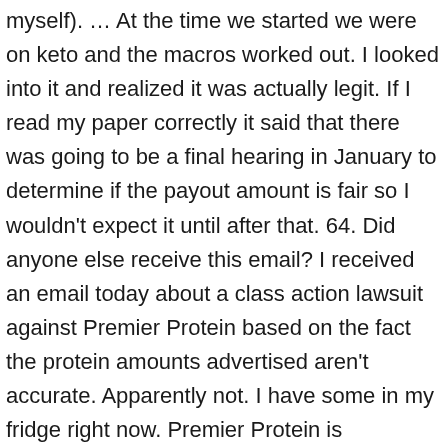myself). … At the time we started we were on keto and the macros worked out. I looked into it and realized it was actually legit. If I read my paper correctly it said that there was going to be a final hearing in January to determine if the payout amount is fair so I wouldn't expect it until after that. 64. Did anyone else receive this email? I received an email today about a class action lawsuit against Premier Protein based on the fact the protein amounts advertised aren't accurate. Apparently not. I have some in my fridge right now. Premier Protein is distributed in the United Kingdom by Weetabix Limited (Company number 00267687) whose registered office address is Weetabix Mills, Burton Latimer, Kettering, Northamptonshire, NN15 5JR. That's gotta hurt. Looks like you're using new Reddit on an old browser. We're Premier Protein. Of these, the